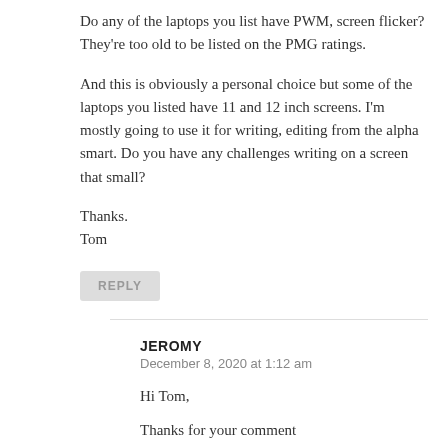Do any of the laptops you list have PWM, screen flicker? They’re too old to be listed on the PMG ratings.
And this is obviously a personal choice but some of the laptops you listed have 11 and 12 inch screens. I’m mostly going to use it for writing, editing from the alpha smart. Do you have any challenges writing on a screen that small?
Thanks.
Tom
REPLY
JEROMY
December 8, 2020 at 1:12 am
Hi Tom,
Thanks for your comment...